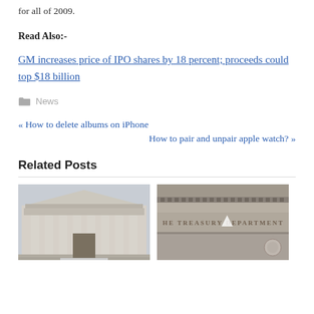for all of 2009.
Read Also:-
GM increases price of IPO shares by 18 percent; proceeds could top $18 billion
News
« How to delete albums on iPhone
How to pair and unpair apple watch? »
Related Posts
[Figure (photo): Photograph of a neoclassical government building facade with columns and pediment]
[Figure (photo): Photograph of the Treasury Department building stonework with engraved text reading THE TREASURY DEPARTMENT]